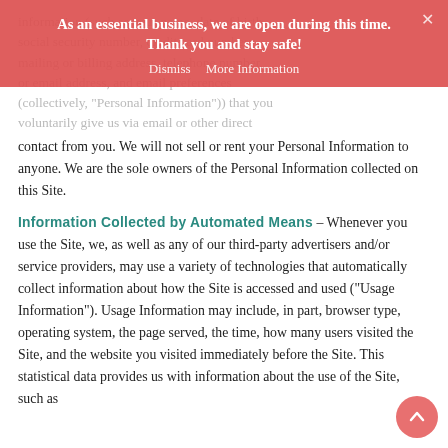[Figure (infographic): Red notification banner overlay reading 'As an essential business, we are open during this time. Thank you and stay safe!' with Dismiss and More Information links and an X close button]
information (such as your name, date of birth, social security number, credit card numbers, mailing or billing address, telephone number, or email address, and email preferences (collectively, "Personal Information")) that you voluntarily give us via email or other direct contact from you. We will not sell or rent your Personal Information to anyone. We are the sole owners of the Personal Information collected on this Site.
Information Collected by Automated Means
– Whenever you use the Site, we, as well as any of our third-party advertisers and/or service providers, may use a variety of technologies that automatically collect information about how the Site is accessed and used ("Usage Information"). Usage Information may include, in part, browser type, operating system, the page served, the time, how many users visited the Site, and the website you visited immediately before the Site. This statistical data provides us with information about the use of the Site, such as